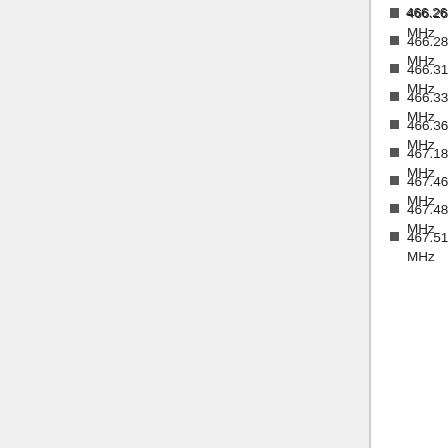466.2625 MHz
466.2875 MHz
466.3125 MHz
466.3375 MHz
466.3625 MHz
467.1875 MHz
467.4625 MHz
467.4875 MHz
467.5125 MHz
467.5375 MHz - May be used by super narrow band modes (example, NXDN or NEXEDGE 4800 4kHz bandwidth), also used by radio rental companies
467.5625 MHz - FRS Channel 8 - 0.5 watt power limit
467.5875 MHz - FRS Channel 9 - 0.5 watt power limit
467.6125 MHz - FRS Channel 10 - 0.5 watt power limit
467.6375 MHz - FRS Channel 11 - 0.5 watt power limit
467.6625 MHz - FRS Channel 12 - 0.5 watt power limit